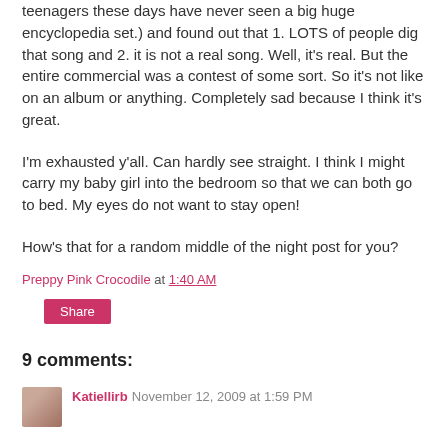teenagers these days have never seen a big huge encyclopedia set.) and found out that 1. LOTS of people dig that song and 2. it is not a real song. Well, it's real. But the entire commercial was a contest of some sort. So it's not like on an album or anything. Completely sad because I think it's great.
I'm exhausted y'all. Can hardly see straight. I think I might carry my baby girl into the bedroom so that we can both go to bed. My eyes do not want to stay open!
How's that for a random middle of the night post for you?
Preppy Pink Crocodile at 1:40 AM
Share
9 comments:
Katiellirb November 12, 2009 at 1:59 PM